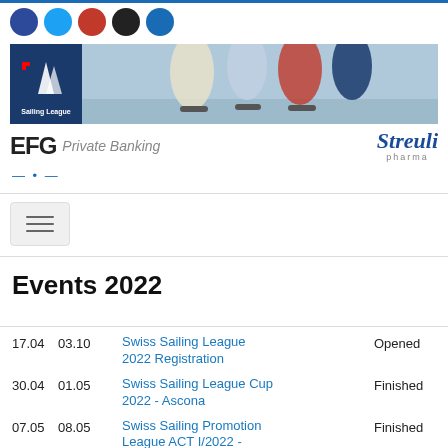[Figure (illustration): Row of 5 social media icon circles: dark blue (Facebook), light blue (Twitter), red (Pinterest/Google+), black (unknown), blue (Facebook)]
[Figure (photo): Swiss Sailing League banner photo showing sailing boats with colored sails on water, with Swiss Sailing League logo on left side]
[Figure (logo): EFG Private Banking logo on left, Streuli pharma logo on right]
... • ...
[Figure (illustration): Hamburger menu button (three horizontal lines) in a rounded rectangle]
Events 2022
17.04  03.10  Swiss Sailing League 2022 Registration  Opened
30.04  01.05  Swiss Sailing League Cup 2022 - Ascona  Finished
07.05  08.05  Swiss Sailing Promotion League ACT I/2022 - Ascona  Finished